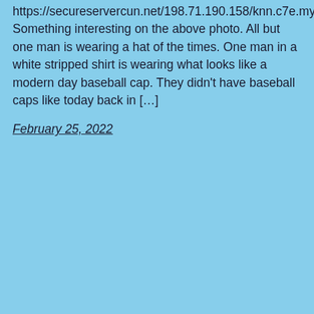https://secureservercun.net/198.71.190.158/knn.c7e.myftpupload.com/ttphotos16b/Loco1108Sandblast111316b.jpg Something interesting on the above photo. All but one man is wearing a hat of the times. One man in a white stripped shirt is wearing what looks like a modern day baseball cap. They didn't have baseball caps like today back in […]
February 25, 2022